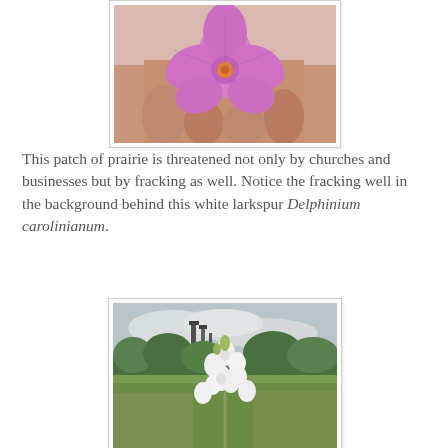[Figure (photo): Close-up photo of a pink/purple flower being held by a hand, showing detailed petal structure]
This patch of prairie is threatened not only by churches and businesses but by fracking as well. Notice the fracking well in the background behind this white larkspur Delphinium carolinianum.
[Figure (photo): Photo of white larkspur (Delphinium carolinianum) flowers in a prairie field with a fracking well visible in the background and green trees on the horizon]